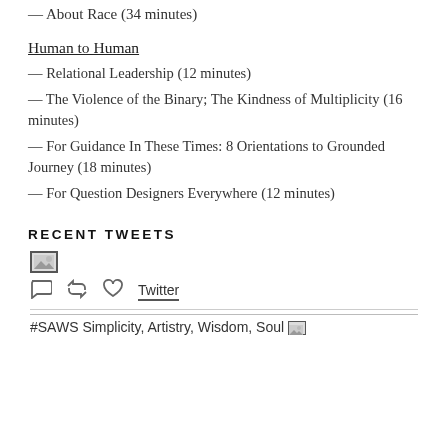— About Race (34 minutes)
Human to Human
— Relational Leadership (12 minutes)
— The Violence of the Binary; The Kindness of Multiplicity (16 minutes)
— For Guidance In These Times: 8 Orientations to Grounded Journey (18 minutes)
— For Question Designers Everywhere (12 minutes)
RECENT TWEETS
[Figure (screenshot): Tweet image placeholder icon (small image box)]
Twitter link with reply, retweet, and like icons
#SAWS Simplicity, Artistry, Wisdom, Soul [image icon]